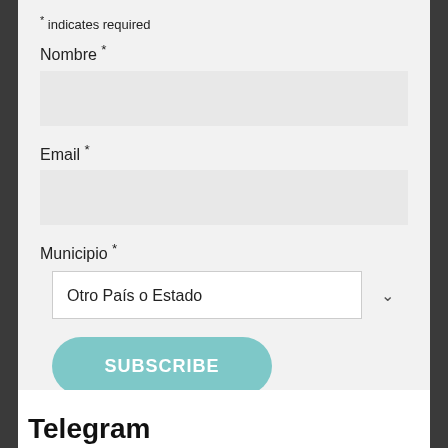* indicates required
Nombre *
Email *
Municipio *
Otro País o Estado
SUBSCRIBE
Telegram